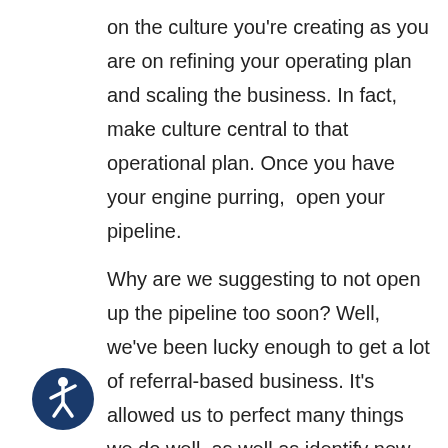on the culture you're creating as you are on refining your operating plan and scaling the business. In fact, make culture central to that operational plan. Once you have your engine purring,  open your pipeline.

Why are we suggesting to not open up the pipeline too soon? Well, we've been lucky enough to get a lot of referral-based business. It's allowed us to perfect many things we do well, as well as identify new opportunities, things we want to do better, or even things we don't want to focus on as a business.
[Figure (other): Accessibility icon — circular dark blue button with a white stick figure person (wheelchair accessibility symbol)]